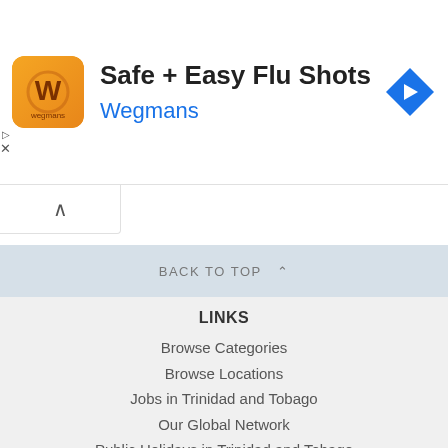[Figure (screenshot): Advertisement banner for Wegmans Safe + Easy Flu Shots with orange app icon and blue navigation arrow icon]
BACK TO TOP ⋀
LINKS
Browse Categories
Browse Locations
Jobs in Trinidad and Tobago
Our Global Network
Public Holidays in Trinidad and Tobago
NLCB Results